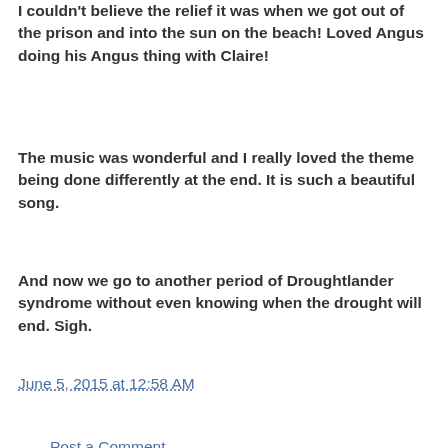I couldn't believe the relief it was when we got out of the prison and into the sun on the beach! Loved Angus doing his Angus thing with Claire!
The music was wonderful and I really loved the theme being done differently at the end. It is such a beautiful song.
And now we go to another period of Droughtlander syndrome without even knowing when the drought will end. Sigh.
June 5, 2015 at 12:58 AM
Post a Comment
Search this Blog